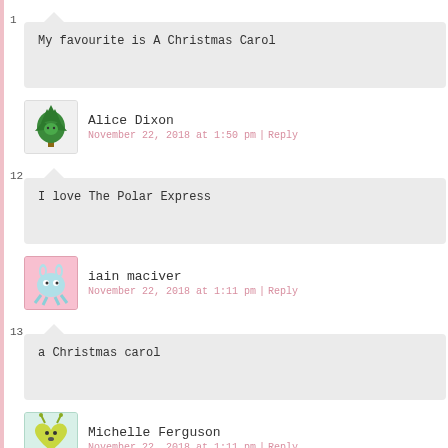1. My favourite is A Christmas Carol
Alice Dixon — November 22, 2018 at 1:50 pm | Reply
2. I love The Polar Express
Iain Maciver — November 22, 2018 at 1:11 pm | Reply
13. a Christmas carol
Michelle Ferguson — November 22, 2018 at 1:11 pm | Reply